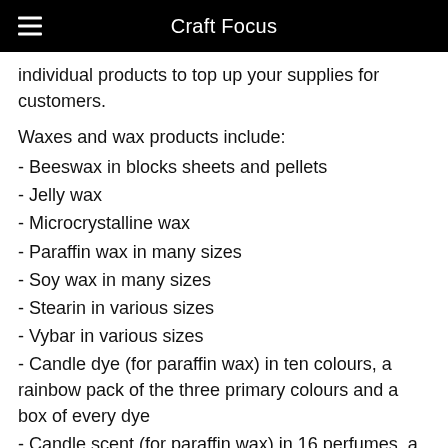Craft Focus
individual products to top up your supplies for customers.
Waxes and wax products include:
- Beeswax in blocks sheets and pellets
- Jelly wax
- Microcrystalline wax
- Paraffin wax in many sizes
- Soy wax in many sizes
- Stearin in various sizes
- Vybar in various sizes
- Candle dye (for paraffin wax) in ten colours, a rainbow pack of the three primary colours and a box of every dye
- Candle scent (for paraffin wax) in 16 perfumes, a